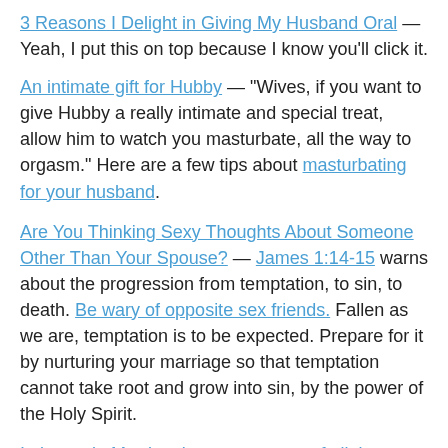3 Reasons I Delight in Giving My Husband Oral — Yeah, I put this on top because I know you'll click it.
An intimate gift for Hubby — "Wives, if you want to give Hubby a really intimate and special treat, allow him to watch you masturbate, all the way to orgasm." Here are a few tips about masturbating for your husband.
Are You Thinking Sexy Thoughts About Someone Other Than Your Spouse? — James 1:14-15 warns about the progression from temptation, to sin, to death. Be wary of opposite sex friends. Fallen as we are, temptation is to be expected. Prepare for it by nurturing your marriage so that temptation cannot take root and grow into sin, by the power of the Holy Spirit.
Intimacy in Marriage's top sex posts of all time — Shockingly, only one post explicitly about oral sex!
Ban "I don't know/I don't care" from your bedroom —